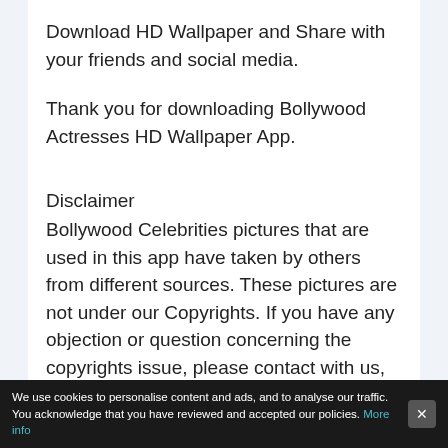Download HD Wallpaper and Share with your friends and social media.
Thank you for downloading Bollywood Actresses HD Wallpaper App.
Disclaimer
Bollywood Celebrities pictures that are used in this app have taken by others from different sources. These pictures are not under our Copyrights. If you have any objection or question concerning the copyrights issue, please contact with us, email at allinplace.2k18@yahoo.com and such contents would be removed immediately.
We use cookies to personalise content and ads, and to analyse our traffic. You acknowledge that you have reviewed and accepted our policies. More info